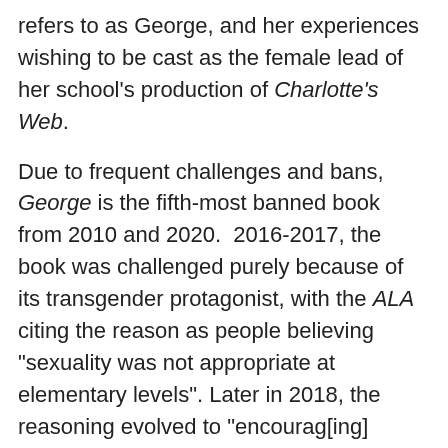refers to as George, and her experiences wishing to be cast as the female lead of her school's production of Charlotte's Web.
Due to frequent challenges and bans, George is the fifth-most banned book from 2010 and 2020.  2016-2017, the book was challenged purely because of its transgender protagonist, with the ALA citing the reason as people believing "sexuality was not appropriate at elementary levels". Later in 2018, the reasoning evolved to "encourag[ing] children to clear browser history and change their bodies using hormones," then to "conflicting traditional family structure" and for "not reflecting the values of our community" from 2019-2020.